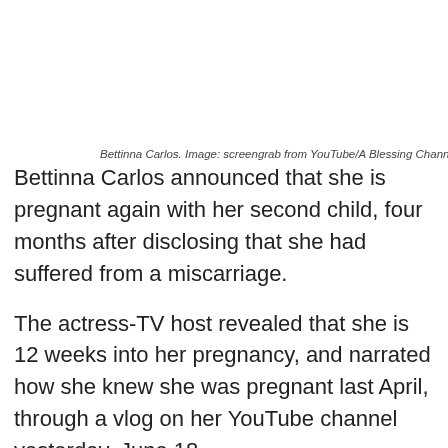Bettinna Carlos. Image: screengrab from YouTube/A Blessing Channel
Bettinna Carlos announced that she is pregnant again with her second child, four months after disclosing that she had suffered from a miscarriage.
The actress-TV host revealed that she is 12 weeks into her pregnancy, and narrated how she knew she was pregnant last April, through a vlog on her YouTube channel yesterday, June 18.